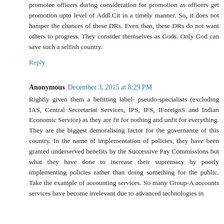promotee officers during consideration for promotion as officers get promotion upto level of Addl.Cit in a timely manner. So, it does not hamper the chances of these DRs. Even then, these DRs do not want others to progress. They consider themselves as Gods. Only God can save such a selfish country.
Reply
Anonymous December 3, 2015 at 8:29 PM
Rightly given them a befitting label- pseudo-specialists (excluding IAS, Central Secretariat Services, IPS, IFS, IForeignS and Indian Economic Service) as they are fit for nothing and unfit for everything. They are the biggest demoralising factor for the governance of this country. In the name of implementation of policies, they have been granted underserved benefits by the Successive Pay Commissions but what they have done to increase their supremacy by poorly implementing policies rather than doing something for the public. Take the example of accounting services. So many Group-A accounts services have become irrelevant due to advanced technologies in